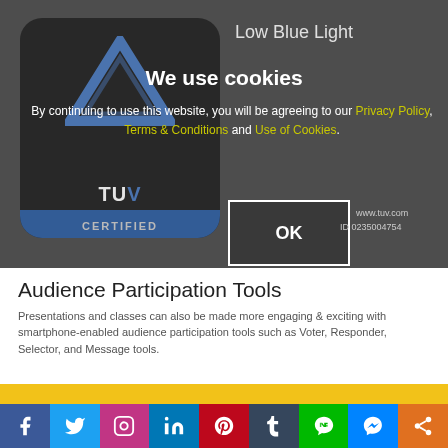[Figure (screenshot): Cookie consent overlay on a TUV-certified website showing a dark background with TUV certification badge, cookie consent message, and OK button]
We use cookies
By continuing to use this website, you will be agreeing to our Privacy Policy, Terms & Conditions and Use of Cookies.
Audience Participation Tools
Presentations and classes can also be made more engaging & exciting with smartphone-enabled audience participation tools such as Voter, Responder, Selector, and Message tools.
[Figure (illustration): Social media share bar with icons for Facebook, Twitter, Instagram, LinkedIn, Pinterest, Tumblr, LINE, Messenger, and Share]